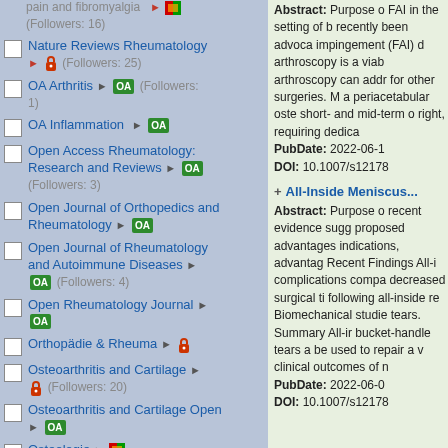pain and fibromyalgia (Followers: 16)
Nature Reviews Rheumatology (Followers: 25)
OA Arthritis OA (Followers: 1)
OA Inflammation OA
Open Access Rheumatology: Research and Reviews OA (Followers: 3)
Open Journal of Orthopedics and Rheumatology OA
Open Journal of Rheumatology and Autoimmune Diseases OA (Followers: 4)
Open Rheumatology Journal OA
Orthopädie & Rheuma
Osteoarthritis and Cartilage (Followers: 20)
Osteoarthritis and Cartilage Open OA
Osteologie
Abstract: Purpose of FAI in the setting of b recently been advoca impingement (FAI) d arthroscopy is a viab arthroscopy can addr for other surgeries. M a periacetabular oste short- and mid-term right, requiring dedic PubDate: 2022-06-1 DOI: 10.1007/s12178
All-Inside Meniscu...
Abstract: Purpose o recent evidence sugg proposed advantages indications, advantag Recent Findings All-i complications compa decreased surgical ti following all-inside re Biomechanical studie tears. Summary All-ir bucket-handle tears be used to repair a v clinical outcomes of n PubDate: 2022-06-0 DOI: 10.1007/s12178